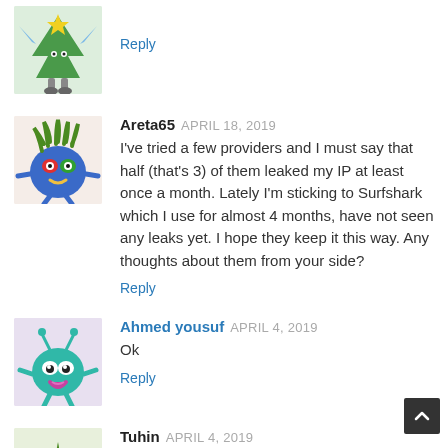[Figure (illustration): Avatar of a cartoon Christmas tree character with blue wings on a light green background]
Reply
[Figure (illustration): Avatar of a blue round monster character with green hair on a light pink background]
Areta65 APRIL 18, 2019
I've tried a few providers and I must say that half (that's 3) of them leaked my IP at least once a month. Lately I'm sticking to Surfshark which I use for almost 4 months, have not seen any leaks yet. I hope they keep it this way. Any thoughts about them from your side?
Reply
[Figure (illustration): Avatar of a teal alien-like monster character on a light purple background]
Ahmed yousuf APRIL 4, 2019
Ok
Reply
[Figure (illustration): Avatar of a yellow plant-like monster character on a light green background]
Tuhin APRIL 4, 2019
Help please
Reply